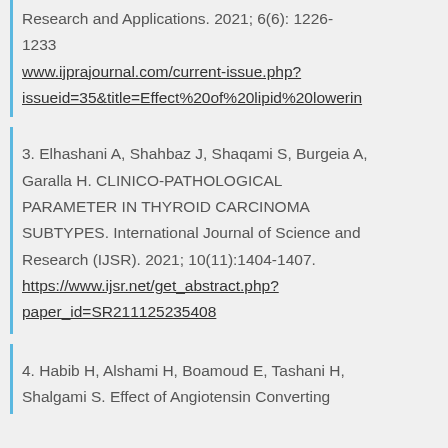Research and Applications. 2021; 6(6): 1226-1233 www.ijprajournal.com/current-issue.php?issueid=35&title=Effect%20of%20lipid%20lowerin
3. Elhashani A, Shahbaz J, Shaqami S, Burgeia A, Garalla H. CLINICO-PATHOLOGICAL PARAMETER IN THYROID CARCINOMA SUBTYPES. International Journal of Science and Research (IJSR). 2021; 10(11):1404-1407. https://www.ijsr.net/get_abstract.php?paper_id=SR211125235408
4. Habib H, Alshami H, Boamoud E, Tashani H, Shalgami S. Effect of Angiotensin Converting